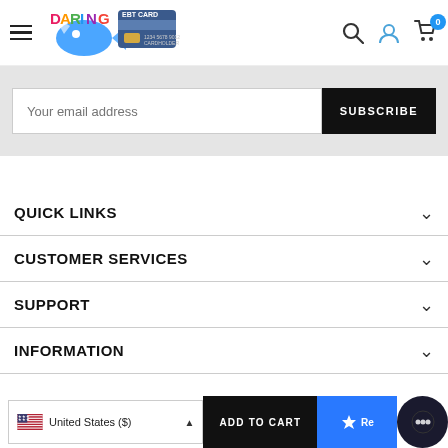[Figure (screenshot): Website header with hamburger menu, Daring + EBT Card logo, search icon, user icon, and cart icon with badge 0]
[Figure (screenshot): Subscribe form with email input placeholder and SUBSCRIBE button on grey background]
QUICK LINKS
CUSTOMER SERVICES
SUPPORT
INFORMATION
[Figure (screenshot): Bottom bar with US flag country selector (United States ($)), ADD TO CART button, Reviews star button, and chat bubble icon]